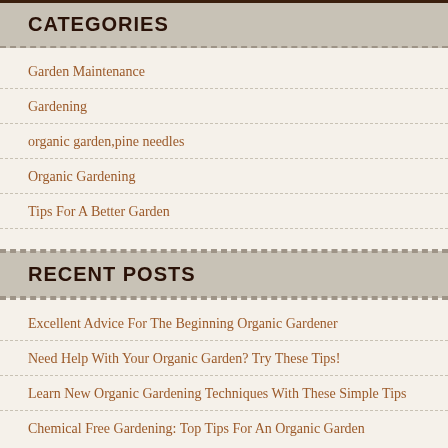CATEGORIES
Garden Maintenance
Gardening
organic garden,pine needles
Organic Gardening
Tips For A Better Garden
RECENT POSTS
Excellent Advice For The Beginning Organic Gardener
Need Help With Your Organic Garden? Try These Tips!
Learn New Organic Gardening Techniques With These Simple Tips
Chemical Free Gardening: Top Tips For An Organic Garden